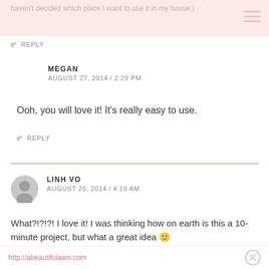haven't decided which place I want to use it in my house:)
↩ REPLY
MEGAN
AUGUST 27, 2014 / 2:29 PM
Ooh, you will love it! It's really easy to use.
↩ REPLY
LINH VO
AUGUST 25, 2014 / 4:19 AM
What?!?!?! I love it! I was thinking how on earth is this a 10-minute project, but what a great idea 🙂
Linh
http://abeautifulawn.com